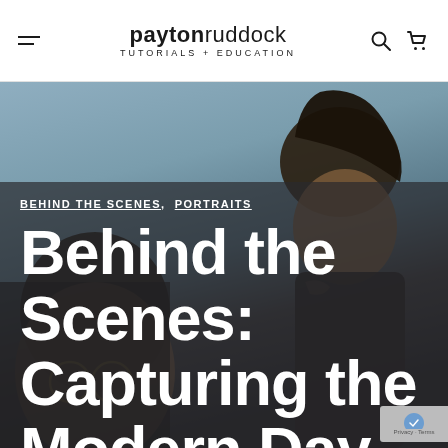paytonruddock TUTORIALS + EDUCATION
[Figure (photo): Two men photographed from below against a blue-grey sky background. The man on the right has dreadlocks, a beard, and visible neck tattoos, wearing a dark shirt. The man on the left has round glasses and curly hair, partially visible in the left foreground.]
BEHIND THE SCENES, PORTRAITS
Behind the Scenes: Capturing the Modern Day Man